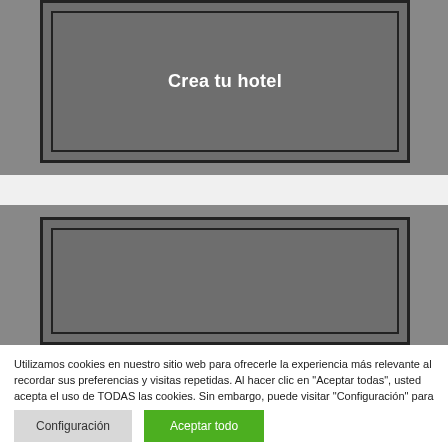[Figure (screenshot): Dark grey UI card with black border showing 'Crea tu hotel' text in white bold lettering on grey background, partially cropped at top]
[Figure (screenshot): Dark grey UI card with black border, partially visible, cropped at bottom of upper screenshot area]
Utilizamos cookies en nuestro sitio web para ofrecerle la experiencia más relevante al recordar sus preferencias y visitas repetidas. Al hacer clic en "Aceptar todas", usted acepta el uso de TODAS las cookies. Sin embargo, puede visitar "Configuración" para proporcionar un consentimiento controlado. Leer más
Configuración
Aceptar todo